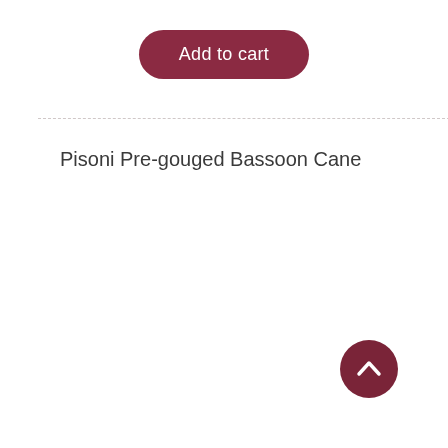[Figure (other): Add to cart button — rounded pill-shaped button with dark red/maroon background and white text reading 'Add to cart']
Pisoni Pre-gouged Bassoon Cane
[Figure (other): Back to top arrow button — circular dark maroon button with upward-pointing chevron arrow in white]